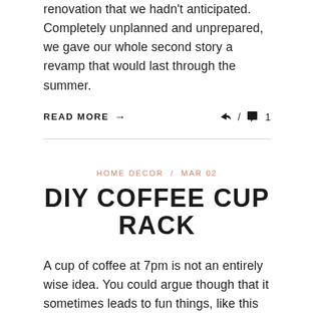renovation that we hadn't anticipated. Completely unplanned and unprepared, we gave our whole second story a revamp that would last through the summer.
READ MORE → / 💬 1
HOME DECOR / MAR 02
DIY COFFEE CUP RACK
A cup of coffee at 7pm is not an entirely wise idea. You could argue though that it sometimes leads to fun things, like this DIY Coffee Cup Rack! That was the case the other night, an evening coffee lead